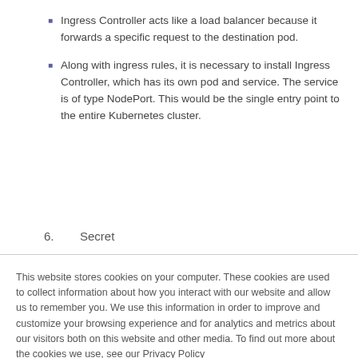Ingress Controller acts like a load balancer because it forwards a specific request to the destination pod.
Along with ingress rules, it is necessary to install Ingress Controller, which has its own pod and service. The service is of type NodePort. This would be the single entry point to the entire Kubernetes cluster.
6.   Secret
This website stores cookies on your computer. These cookies are used to collect information about how you interact with our website and allow us to remember you. We use this information in order to improve and customize your browsing experience and for analytics and metrics about our visitors both on this website and other media. To find out more about the cookies we use, see our Privacy Policy